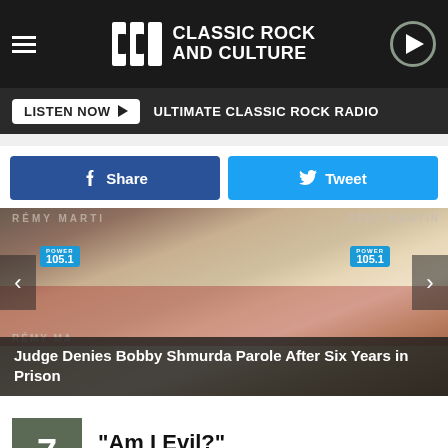UCR Classic Rock and Culture
LISTEN NOW  ULTIMATE CLASSIC ROCK RADIO
Share  Tweet
[Figure (photo): Photo of Bobby Shmurda at a Remy Martin Power 105.1 event, with carousel navigation arrows on either side and a caption overlay at the bottom.]
Judge Denies Bobby Shmurda Parole After Six Years in Prison
7  "Am I Evil?"  Metallica
From (Garage Days Re-) Revisited (1984)